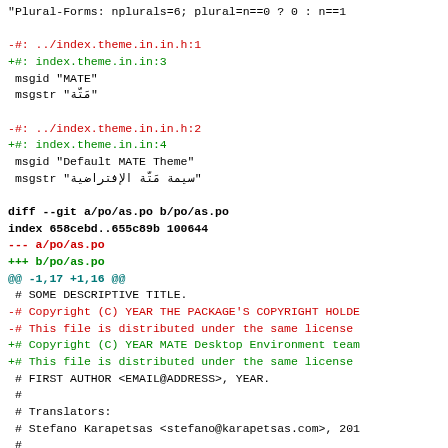"Plural-Forms: nplurals=6; plural=n==0 ? 0 : n==1

-#: ../index.theme.in.in.h:1
+#: index.theme.in.in:3
 msgid "MATE"
 msgstr "مَتّة"

-#: ../index.theme.in.in.h:2
+#: index.theme.in.in:4
 msgid "Default MATE Theme"
 msgstr "سيمة مَتّة الإفتراضية"

diff --git a/po/as.po b/po/as.po
index 658cebd..655c89b 100644
--- a/po/as.po
+++ b/po/as.po
@@ -1,17 +1,16 @@
 # SOME DESCRIPTIVE TITLE.
-# Copyright (C) YEAR THE PACKAGE'S COPYRIGHT HOLDE
-# This file is distributed under the same license
+# Copyright (C) YEAR MATE Desktop Environment team
+# This file is distributed under the same license
 # FIRST AUTHOR <EMAIL@ADDRESS>, YEAR.
 #
 # Translators:
 # Stefano Karapetsas <stefano@karapetsas.com>, 201
 #
-#, fuzzy
 msgid ""
 msgstr ""